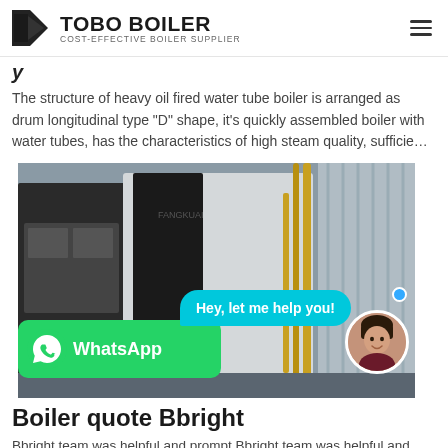TOBO BOILER — COST-EFFECTIVE BOILER SUPPLIER
The structure of heavy oil fired water tube boiler is arranged as drum longitudinal type "D" shape, it's quickly assembled boiler with water tubes, has the characteristics of high steam quality, sufficie…
[Figure (photo): Industrial boiler units in a warehouse/factory setting, showing large black and white boiler units with pipes, with a WhatsApp button overlay, chat bubble saying 'Hey, let me help you!', and a female avatar.]
Boiler quote Bbright
Bbright team was helpful and prompt Bbright team was helpful and